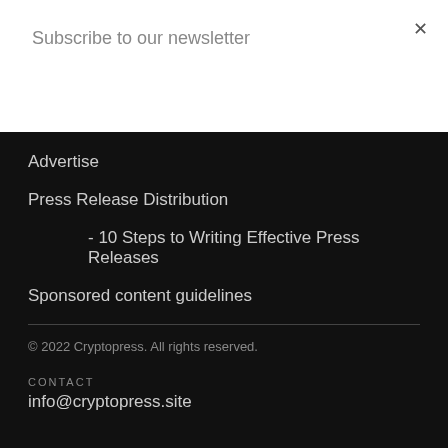Subscribe to our newsletter
Subscribe
×
Advertise
Press Release Distribution
- 10 Steps to Writing Effective Press Releases
Sponsored content guidelines
© 2022 Cryptopress. All rights reserved.
CONTACT
info@cryptopress.site